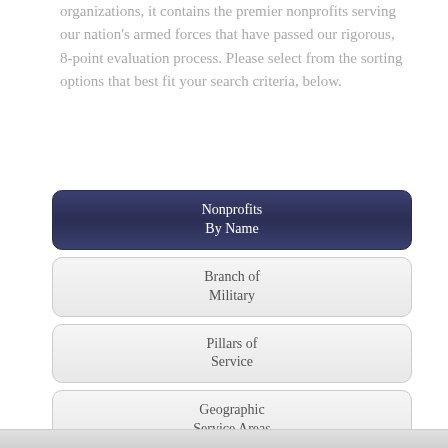organizations, it contains the premier nonprofits serving our nation's armed forces that have passed our rigorous, 8-point evaluation process. Please select from the sorting options that best fit your search criteria, below.
Nonprofits By Name
Branch of Military
Pillars of Service
Geographic Service Areas
Headquarter Locations